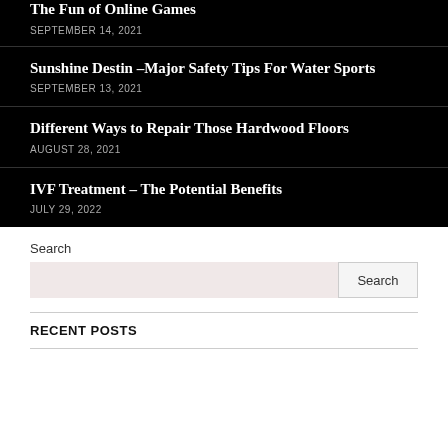The Fun of Online Games
SEPTEMBER 14, 2021
Sunshine Destin –Major Safety Tips For Water Sports
SEPTEMBER 13, 2021
Different Ways to Repair Those Hardwood Floors
AUGUST 28, 2021
IVF Treatment – The Potential Benefits
JULY 29, 2022
Search
RECENT POSTS